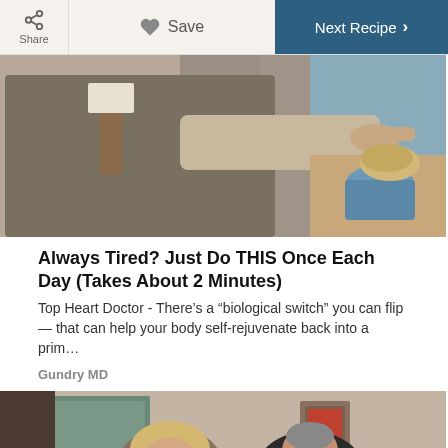Share | Save | Next Recipe >
[Figure (photo): A man in a suit and tie pointing at something on a kitchen counter, with blue decorative items visible]
Always Tired? Just Do THIS Once Each Day (Takes About 2 Minutes)
Top Heart Doctor - There’s a “biological switch” you can flip — that can help your body self-rejuvenate back into a prim…
Gundry MD
[Figure (photo): An elderly couple sitting indoors, a woman with blonde hair and glasses and a man in a black shirt, with a window and framed picture visible on the wall]